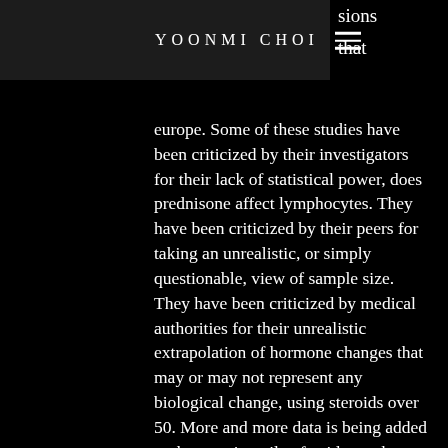YOONMI CHOI
europe. Some of these studies have been criticized by their investigators for their lack of statistical power, does prednisone affect lymphocytes. They have been criticized by their peers for taking an unrealistic, or simply questionable, view of sample size. They have been criticized by medical authorities for their unrealistic extrapolation of hormone changes that may or may not represent any biological change, using steroids over 50. More and more data is being added to the growing pile of evidence that testosterone (and other anabolic steroids – anabolic-androgenics) may not be what they claim they are.
There has been no "smoking gun" yet, how to calculate ect of corrugated box. The problem is that in the end, many of the